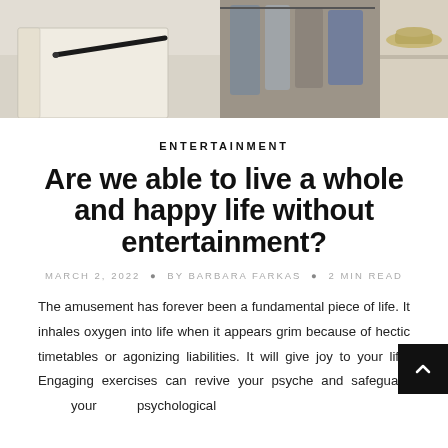[Figure (photo): Photo collage at top of page showing a notebook with a pen on a light surface on the left, and clothing on a rack with a hat on a shelf on the right]
ENTERTAINMENT
Are we able to live a whole and happy life without entertainment?
MARCH 2, 2022 • BY BARBARA FARKAS • 2 MIN READ
The amusement has forever been a fundamental piece of life. It inhales oxygen into life when it appears grim because of hectic timetables or agonizing liabilities. It will give joy to your life. Engaging exercises can revive your psyche and safeguard your psychological